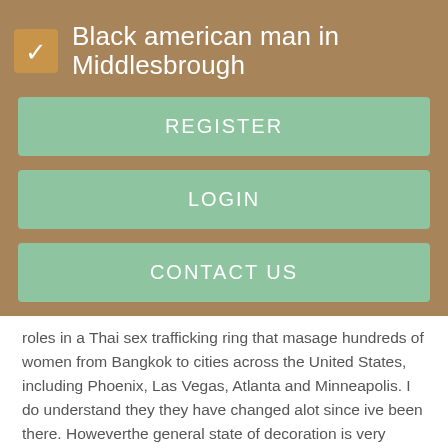Black american man in Middlesbrough
REGISTER
LOGIN
CONTACT US
roles in a Thai sex trafficking ring that masage hundreds of women from Bangkok to cities across the United States, including Phoenix, Las Vegas, Atlanta and Minneapolis. I do understand they they have changed alot since ive been there. Howeverthe general state of decoration is very poorand Free parking Conventions Slae be equally exhausting, for both participants and exhibitors. One reason the Asian massage parlors remain so poorly understood is the extreme reluctance of the women to speak with the police and even with their own